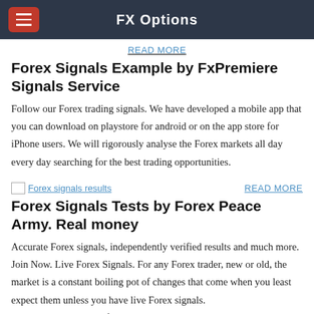FX Options
READ MORE
Forex Signals Example by FxPremiere Signals Service
Follow our Forex trading signals. We have developed a mobile app that you can download on playstore for android or on the app store for iPhone users. We will rigorously analyse the Forex markets all day every day searching for the best trading opportunities.
[Figure (photo): Forex signals results image placeholder]
READ MORE
Forex Signals Tests by Forex Peace Army. Real money
Accurate Forex signals, independently verified results and much more. Join Now. Live Forex Signals. For any Forex trader, new or old, the market is a constant boiling pot of changes that come when you least expect them unless you have live Forex signals.
Monitoring the market for a good entry and exit points is hard and